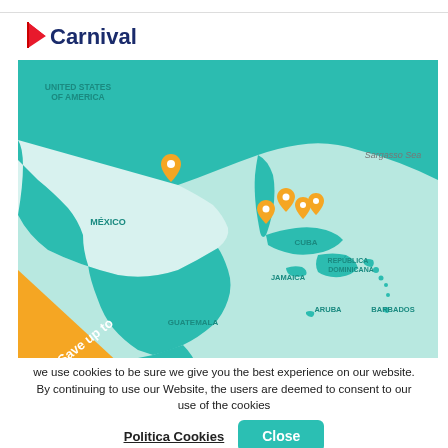[Figure (logo): Carnival cruise line logo — red and white flag/sail icon with 'Carnival' text in dark blue]
[Figure (map): Map of the Caribbean and Gulf of Mexico region showing United States of America, México, Cuba, Jamaica, Guatemala, República Dominicana, Aruba, Barbados, and Sargasso Sea. Teal/green land masses on light blue ocean. Orange location pin markers near Mexico, Florida, and the Caribbean islands. Orange diagonal banner in lower left corner reading 'Save up to 23%'.]
we use cookies to be sure we give you the best experience on our website. By continuing to use our Website, the users are deemed to consent to our use of the cookies
Politica Cookies   Close